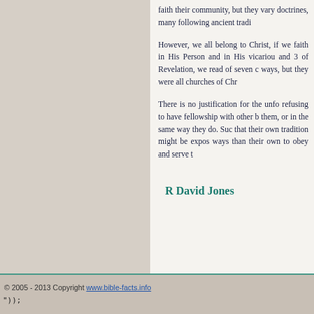faith their community, but they vary doctrines, many following ancient tradi
However, we all belong to Christ, if we faith in His Person and in His vicariou and 3 of Revelation, we read of seven c ways, but they were all churches of Chr
There is no justification for the unfo refusing to have fellowship with other b them, or in the same way they do. Suc that their own tradition might be expos ways than their own to obey and serve t
R David Jones
© 2005 - 2013 Copyright www.bible-facts.info
"});